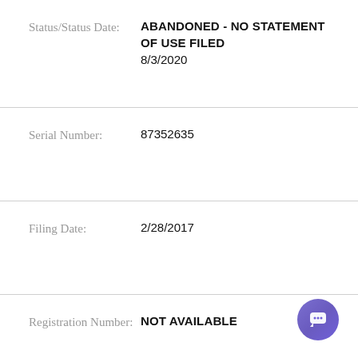| Field | Value |
| --- | --- |
| Status/Status Date: | ABANDONED - NO STATEMENT OF USE FILED
8/3/2020 |
| Serial Number: | 87352635 |
| Filing Date: | 2/28/2017 |
| Registration Number: | NOT AVAILABLE |
| Registration Date: | NOT AVAILABLE |